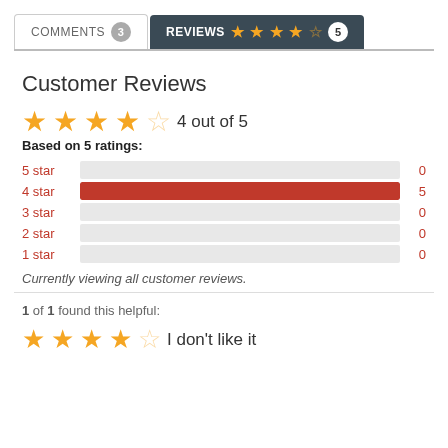COMMENTS 3 | REVIEWS ★★★★☆ 5
Customer Reviews
4 out of 5
Based on 5 ratings:
[Figure (bar-chart): Rating distribution]
Currently viewing all customer reviews.
1 of 1 found this helpful:
I don't like it